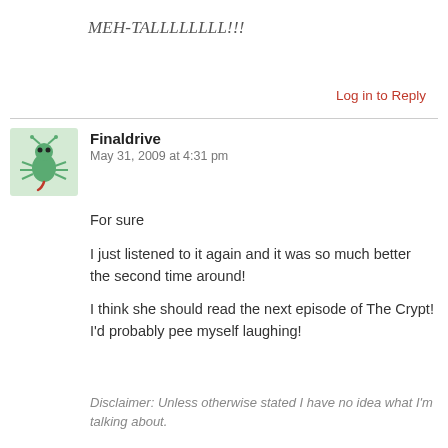MEH-TALLLLLLLL!!!
Log in to Reply
Finaldrive
May 31, 2009 at 4:31 pm
[Figure (illustration): Small pixel-art style avatar of a green bug/alien character on a light green background]
For sure

I just listened to it again and it was so much better the second time around!

I think she should read the next episode of The Crypt! I'd probably pee myself laughing!
Disclaimer: Unless otherwise stated I have no idea what I'm talking about.